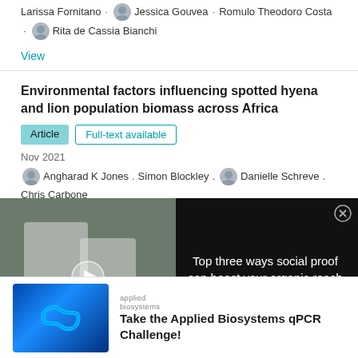Larissa Fornitano · Jessica Gouvea · Romulo Theodoro Costa · Rita de Cassia Bianchi
View
Environmental factors influencing spotted hyena and lion population biomass across Africa
Article  Full-text available
Nov 2021
Angharad K Jones · Simon Blockley · Danielle Schreve · Chris Carbone
[Figure (screenshot): Video ad overlay showing scientists in lab with text 'TOP THREE WAYS SOCIAL PROOF CAN BOOST YOUR ORGANIC REACH AND ENGAGEMENT' and play button]
Top three ways social proof can boost your organic reach and engagement
[Figure (logo): Applied Biosystems logo with infinity symbol on blue background]
Take the Applied Biosystems qPCR Challenge!